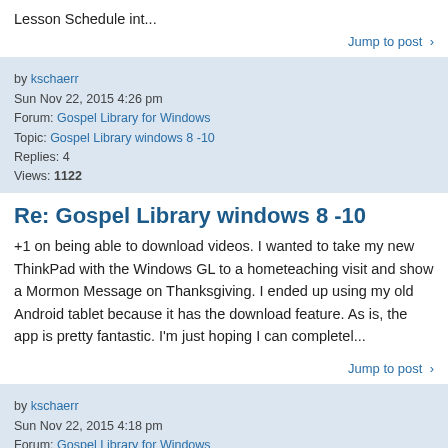Lesson Schedule int...
Jump to post >
by kschaerr
Sun Nov 22, 2015 4:26 pm
Forum: Gospel Library for Windows
Topic: Gospel Library windows 8 -10
Replies: 4
Views: 1122
Re: Gospel Library windows 8 -10
+1 on being able to download videos. I wanted to take my new ThinkPad with the Windows GL to a hometeaching visit and show a Mormon Message on Thanksgiving. I ended up using my old Android tablet because it has the download feature. As is, the app is pretty fantastic. I'm just hoping I can completel...
Jump to post >
by kschaerr
Sun Nov 22, 2015 4:18 pm
Forum: Gospel Library for Windows
Topic: Search not working like iOS or Android
Replies: 2
Views: 569
Re: Search not working like iOS or Android
Along these same lines, when you click on a search result, you are taken to the correct page, but not to the reference you are looking for. The text is highlighted, but in a talk or long passage of scripture, it can take a bit to find what you're looking for. Again, this feature is much